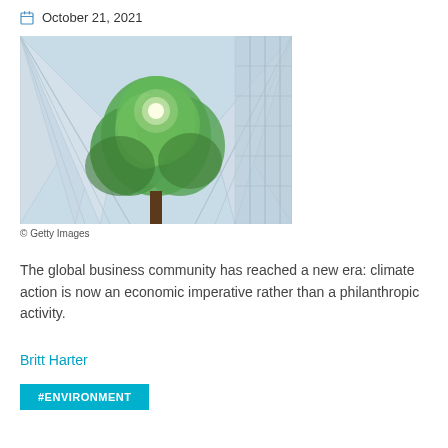October 21, 2021
[Figure (photo): Upward-looking view through green tree branches with sunlight, surrounded by modern glass-and-steel skyscrapers]
© Getty Images
The global business community has reached a new era: climate action is now an economic imperative rather than a philanthropic activity.
Britt Harter
#ENVIRONMENT